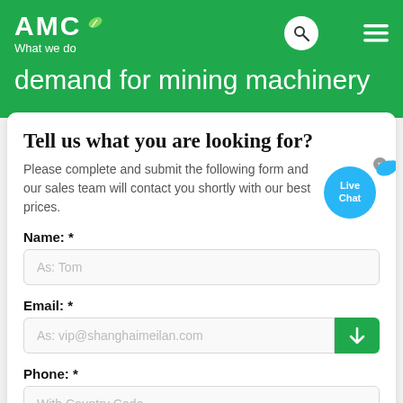AMC — What we do
demand for mining machinery
Tell us what you are looking for?
Please complete and submit the following form and our sales team will contact you shortly with our best prices.
Name: *
As: Tom
Email: *
As: vip@shanghaimeilan.com
Phone: *
With Country Code